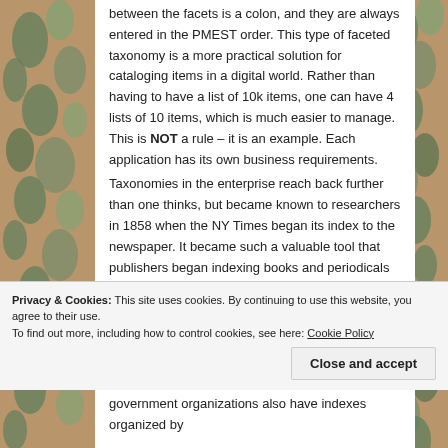between the facets is a colon, and they are always entered in the PMEST order. This type of faceted taxonomy is a more practical solution for cataloging items in a digital world. Rather than having to have a list of 10k items, one can have 4 lists of 10 items, which is much easier to manage. This is NOT a rule – it is an example. Each application has its own business requirements.
Taxonomies in the enterprise reach back further than one thinks, but became known to researchers in 1858 when the NY Times began its index to the newspaper. It became such a valuable tool that publishers began indexing books and periodicals and publishing such – H.W.Wilson is a great publisher of indexes. The Reader's Guide to Periodical
Privacy & Cookies: This site uses cookies. By continuing to use this website, you agree to their use.
To find out more, including how to control cookies, see here: Cookie Policy
Close and accept
government organizations also have indexes organized by